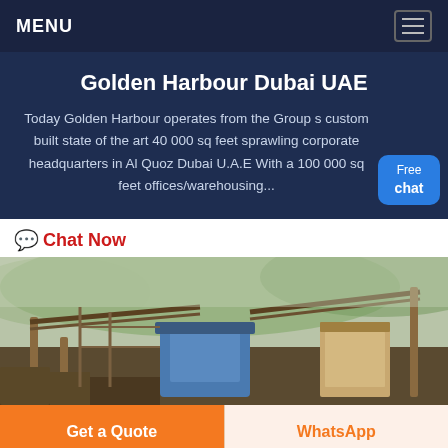MENU
Golden Harbour Dubai UAE
Today Golden Harbour operates from the Group s custom built state of the art 40 000 sq feet sprawling corporate headquarters in Al Quoz Dubai U.A.E With a 100 000 sq feet offices/warehousing...
Chat Now
[Figure (photo): Industrial mining or quarrying machinery — conveyor belts, crushers, and heavy equipment in an outdoor hilly setting with muted green/brown tones.]
Get a Quote
WhatsApp